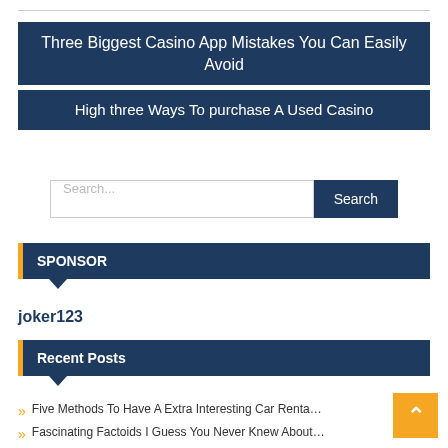Three Biggest Casino App Mistakes You Can Easily Avoid
High three Ways To purchase A Used Casino
Search...
SPONSOR
joker123
Recent Posts
Five Methods To Have A Extra Interesting Car Renta…
Fascinating Factoids I Guess You Never Knew About…